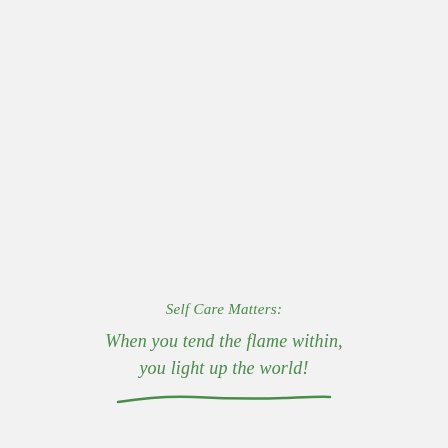Self Care Matters:
When you tend the flame within, you light up the world!
[Figure (illustration): A hand-drawn green horizontal line / underline decoration]